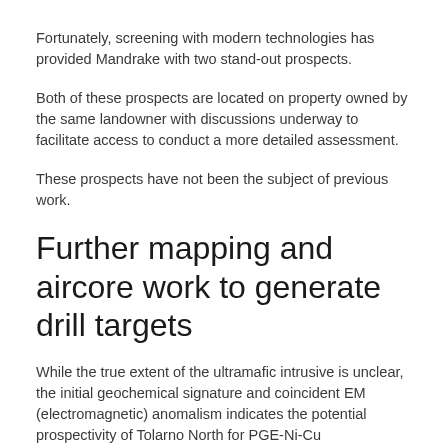Fortunately, screening with modern technologies has provided Mandrake with two stand-out prospects.
Both of these prospects are located on property owned by the same landowner with discussions underway to facilitate access to conduct a more detailed assessment.
These prospects have not been the subject of previous work.
Further mapping and aircore work to generate drill targets
While the true extent of the ultramafic intrusive is unclear, the initial geochemical signature and coincident EM (electromagnetic) anomalism indicates the potential prospectivity of Tolarno North for PGE-Ni-Cu